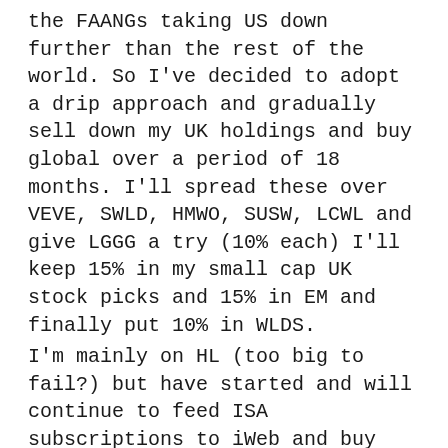the FAANGs taking US down further than the rest of the world. So I've decided to adopt a drip approach and gradually sell down my UK holdings and buy global over a period of 18 months. I'll spread these over VEVE, SWLD, HMWO, SUSW, LCWL and give LGGG a try (10% each) I'll keep 15% in my small cap UK stock picks and 15% in EM and finally put 10% in WLDS. I'm mainly on HL (too big to fail?) but have started and will continue to feed ISA subscriptions to iWeb and buy LGITI from SIPP drawdowns (part of my strategy to avoid the LTA issue and also to have some Non ETF exposure.) Anyway I could ramble on but I need to get back and read your post again!